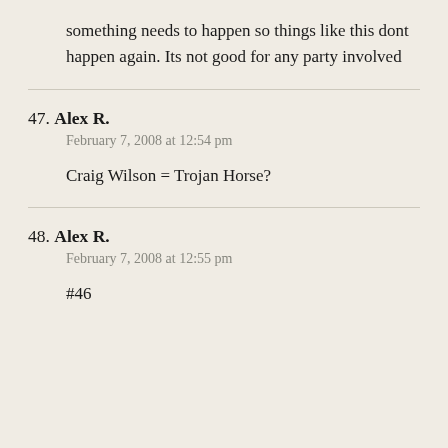something needs to happen so things like this dont happen again. Its not good for any party involved
47. Alex R.
February 7, 2008 at 12:54 pm
Craig Wilson = Trojan Horse?
48. Alex R.
February 7, 2008 at 12:55 pm
#46